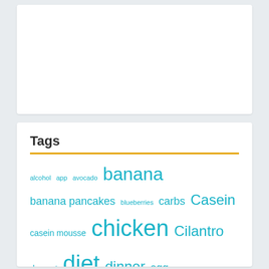[Figure (other): White card area at top, mostly blank/empty]
Tags
alcohol app avocado banana banana pancakes blueberries carbs Casein casein mousse chicken Cilantro dessert diet dinner egg fat gain weight ginger gingerbread gym healthy lean lifestyle macros meat mindful pancakes protein protein pancakes RP diet app RP Strength RP Strength app RP Strength diet salmon salsa smoothie bowl snack